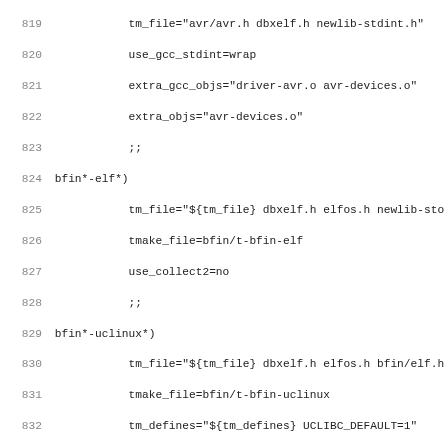819   tm_file="avr/avr.h dbxelf.h newlib-stdint.h"
820   use_gcc_stdint=wrap
821   extra_gcc_objs="driver-avr.o avr-devices.o"
822   extra_objs="avr-devices.o"
823   ;;
824 bfin*-elf*)
825   tm_file="${tm_file} dbxelf.h elfos.h newlib-sto
826   tmake_file=bfin/t-bfin-elf
827   use_collect2=no
828   ;;
829 bfin*-uclinux*)
830   tm_file="${tm_file} dbxelf.h elfos.h bfin/elf.h
831   tmake_file=bfin/t-bfin-uclinux
832   tm_defines="${tm_defines} UCLIBC_DEFAULT=1"
833   extra_options="${extra_options} linux.opt"
834   use_collect2=no
835   ;;
836 bfin*-linux-uclibc*)
837   tm_file="${tm_file} dbxelf.h elfos.h bfin/elf.h
838   tmake_file="t-slibgcc-elf-ver bfin/t-bfin-linux
839   extra_parts="crtbegin.o crtbeginS.o crtend.o cr
840   use_collect2=no
841   ;;
842 bfin*-rtems*)
843   tm_file="${tm_file} dbxelf.h elfos.h bfin/elf.h
844   tmake_file="bfin/t-bfin t-rtems bfin/t-rtems"
845   ;;
846 bfin*-*)
847   tm_file="${tm_file} dbxelf.h elfos.h newlib-sto
848   tmake_file=bfin/t-bfin
849   use_collect2=no
850   use_gcc_stdint=wrap